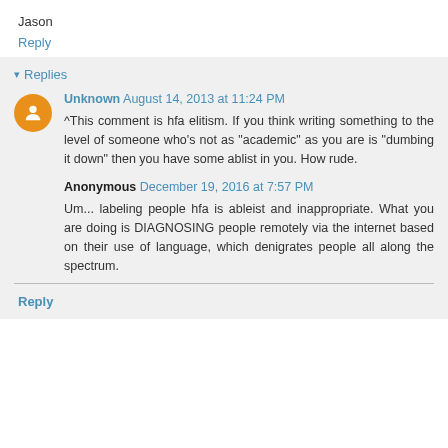Jason
Reply
▾ Replies
Unknown  August 14, 2013 at 11:24 PM
^This comment is hfa elitism. If you think writing something to the level of someone who's not as "academic" as you are is "dumbing it down" then you have some ablist in you. How rude.
Anonymous  December 19, 2016 at 7:57 PM
Um... labeling people hfa is ableist and inappropriate. What you are doing is DIAGNOSING people remotely via the internet based on their use of language, which denigrates people all along the spectrum.
Reply